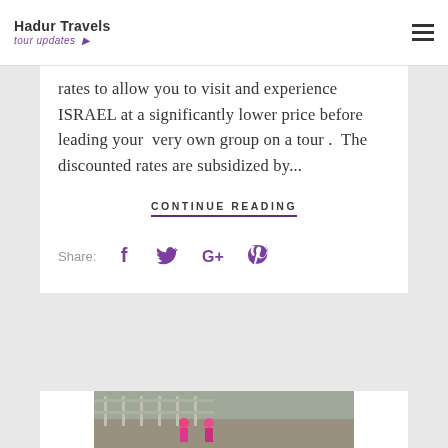Hadur Travels — tour updates
rates to allow you to visit and experience ISRAEL at a significantly lower price before leading your very own group on a tour . The discounted rates are subsidized by...
CONTINUE READING
Share:
[Figure (photo): Two children in pink jackets standing near a stone wall with a metal fence, outdoors in Israel]